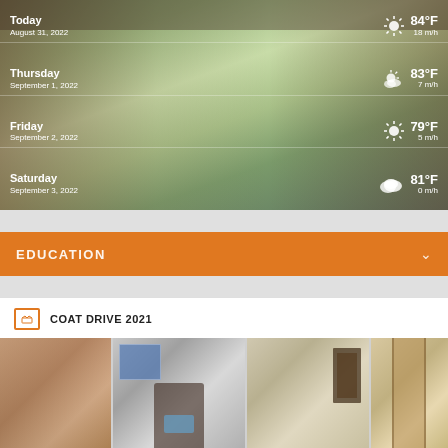[Figure (screenshot): Weather forecast widget overlaid on a city mural background showing 4-day forecast]
Today August 31, 2022 84°F 18 m/h
Thursday September 1, 2022 83°F 7 m/h
Friday September 2, 2022 79°F 5 m/h
Saturday September 3, 2022 81°F 0 m/h
EDUCATION
COAT DRIVE 2021
[Figure (photo): Photo strip showing school hallway scenes including a student wearing a blue mask, artwork on walls, and a plaque board]